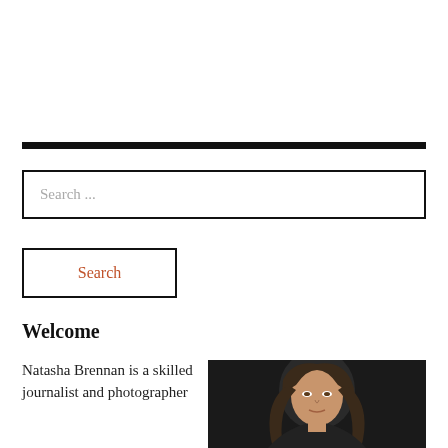Search ...
Search
Welcome
Natasha Brennan is a skilled journalist and photographer
[Figure (photo): Portrait photo of a woman with long dark hair against a dark background]